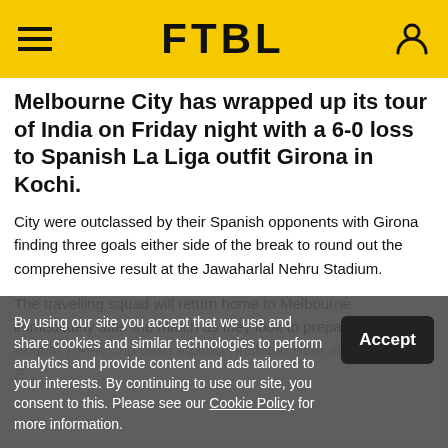FTBL
Melbourne City has wrapped up its tour of India on Friday night with a 6-0 loss to Spanish La Liga outfit Girona in Kochi.
City were outclassed by their Spanish opponents with Girona finding three goals either side of the break to round out the comprehensive result at the Jawaharlal Nehru Stadium.
The travelling squad will return home to Melbourne immediately after the match as they look to prepare for the August 7 FFA Cup dash against Brisbane Roar at Do...
By using our site you accept that we use and share cookies and similar technologies to perform analytics and provide content and ads tailored to your interests. By continuing to use our site, you consent to this. Please see our Cookie Policy for more information.